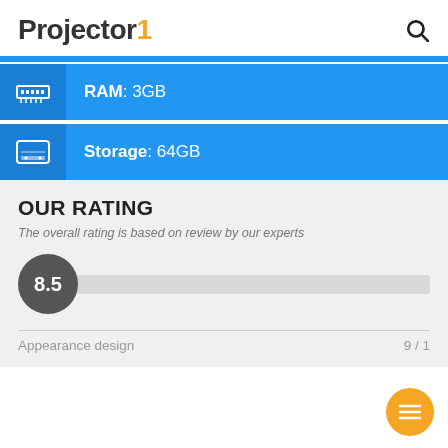Projector1
RAM: 3GB
Storage: 64GB
OUR RATING
The overall rating is based on review by our experts
[Figure (infographic): Rating score display: dark grey circle with score 8.5, followed by a light grey bar track]
Appearance design  9 / 1